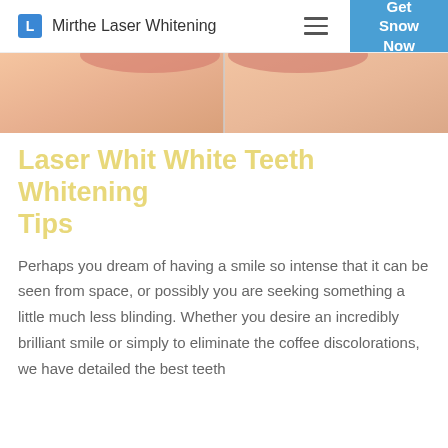Mirthe Laser Whitening | Get Snow Now
[Figure (photo): Close-up before and after comparison photo of a person's lower face/chin area showing skin, split vertically in the middle]
Laser Whit Teeth Whitening Tips
Perhaps you dream of having a smile so intense that it can be seen from space, or possibly you are seeking something a little much less blinding. Whether you desire an incredibly brilliant smile or simply to eliminate the coffee discolorations, we have detailed the best teeth